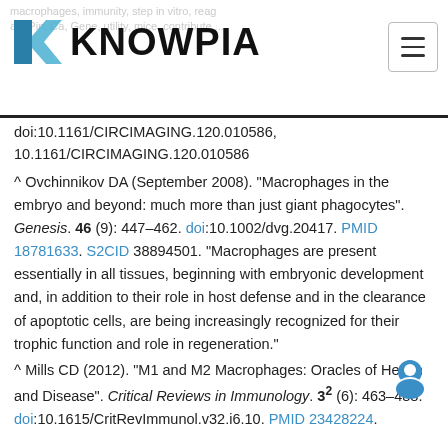KNOWPIA
doi:10.1161/CIRCIMAGING.120.010586, 10.1161/CIRCIMAGING.120.010586
^ Ovchinnikov DA (September 2008). "Macrophages in the embryo and beyond: much more than just giant phagocytes". Genesis. 46 (9): 447–462. doi:10.1002/dvg.20417. PMID 18781633. S2CID 38894501. "Macrophages are present essentially in all tissues, beginning with embryonic development and, in addition to their role in host defense and in the clearance of apoptotic cells, are being increasingly recognized for their trophic function and role in regeneration."
^ Mills CD (2012). "M1 and M2 Macrophages: Oracles of Health and Disease". Critical Reviews in Immunology. 32 (6): 463–488. doi:10.1615/CritRevImmunol.v32.i6.10. PMID 23428224.